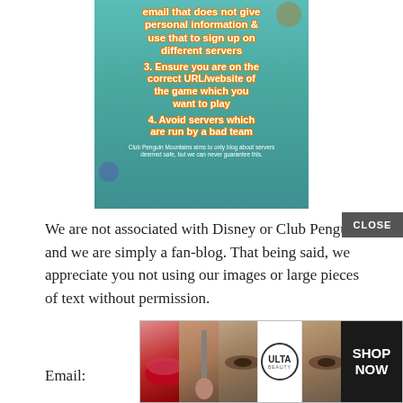[Figure (infographic): Club Penguin Mountains infographic showing tips about online server safety. Shows tips 2 (partial), 3, and 4, plus a disclaimer at the bottom.]
We are not associated with Disney or Club Penguin and we are simply a fan-blog. That being said, we appreciate you not using our images or large pieces of text without permission.
Email:
[Figure (infographic): Ulta Beauty advertisement banner with makeup images (lips, brush, eyes) and SHOP NOW button.]